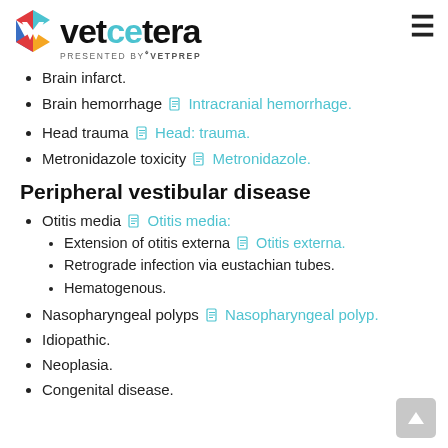vetcetera - PRESENTED BY VetPrep
Brain infarct.
Brain hemorrhage [doc] Intracranial hemorrhage.
Head trauma [doc] Head: trauma.
Metronidazole toxicity [doc] Metronidazole.
Peripheral vestibular disease
Otitis media [doc] Otitis media:
Extension of otitis externa [doc] Otitis externa.
Retrograde infection via eustachian tubes.
Hematogenous.
Nasopharyngeal polyps [doc] Nasopharyngeal polyp.
Idiopathic.
Neoplasia.
Congenital disease.